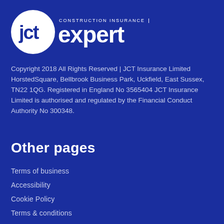[Figure (logo): JCT Expert Construction Insurance logo — circular white emblem with 'jct' text inside, alongside 'CONSTRUCTION INSURANCE' caption above and 'expert' in large bold white text]
Copyright 2018 All Rights Reserved | JCT Insurance Limited HorstedSquare, Bellbrook Business Park, Uckfield, East Sussex, TN22 1QG. Registered in England No 3565404 JCT Insurance Limited is authorised and regulated by the Financial Conduct Authority No 300348.
Other pages
Terms of business
Accessibility
Cookie Policy
Terms & conditions
Privacy Policy